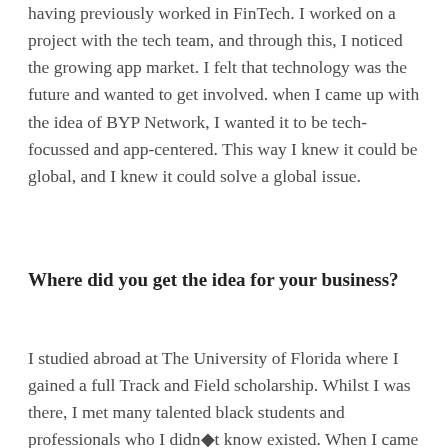having previously worked in FinTech. I worked on a project with the tech team, and through this, I noticed the growing app market. I felt that technology was the future and wanted to get involved. when I came up with the idea of BYP Network, I wanted it to be tech-focussed and app-centered. This way I knew it could be global, and I knew it could solve a global issue.
Where did you get the idea for your business?
I studied abroad at The University of Florida where I gained a full Track and Field scholarship. Whilst I was there, I met many talented black students and professionals who I didn●t know existed. When I came back to the UK and was working in FinTech, I noticed the lack of diversity, even in the start-